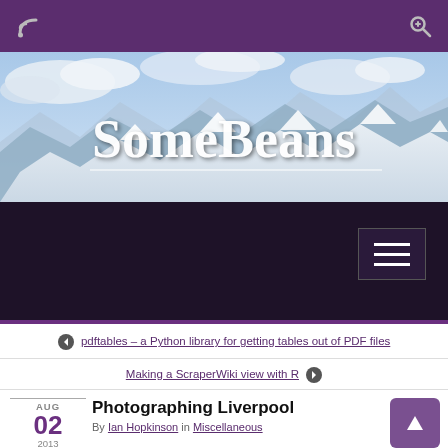SomeBeans
[Figure (screenshot): Website screenshot of SomeBeans blog showing purple top bar with RSS and search icons, a mountain/snow hero image with 'SomeBeans' title text, dark navigation bar with hamburger menu, navigation links for previous and next posts, and a post entry dated AUG 02 2013 titled 'Photographing Liverpool' by Ian Hopkinson in Miscellaneous.]
pdftables – a Python library for getting tables out of PDF files
Making a ScraperWiki view with R
Photographing Liverpool
By Ian Hopkinson in Miscellaneous
AUG 02 2013